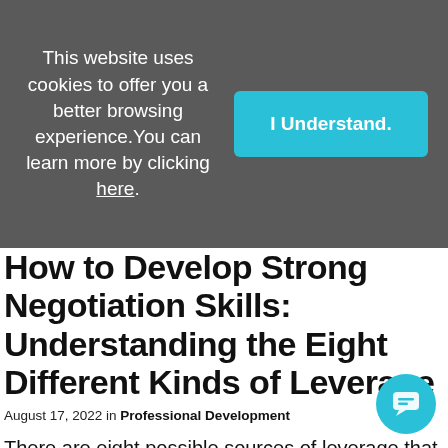This website uses cookies to offer you a better browsing experience. You can learn more by clicking here.
I Understand.
How to Develop Strong Negotiation Skills: Understanding the Eight Different Kinds of Leverage
August 17, 2022 in Professional Development
There are eight possible sources of leverage that are present in every negotiating situation. We want to understand and maximize all eight sources.
Read more ›